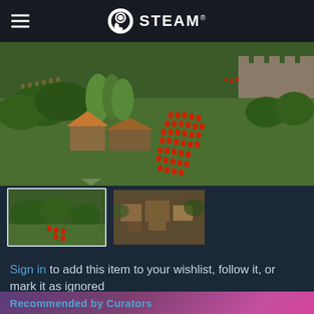STEAM®
[Figure (screenshot): Steam store page screenshot showing an RTS game with medieval soldiers in red marching across a green landscape with forests and buildings. Two thumbnail previews below the main screenshot.]
Sign in to add this item to your wishlist, follow it, or mark it as ignored
[Figure (other): Two action icon buttons: share/upload icon and flag icon, both on teal/blue square backgrounds]
Recommended by Curators